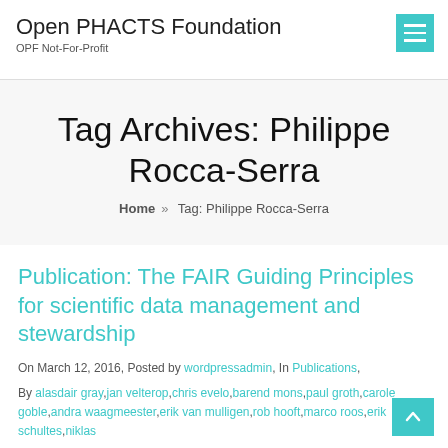Open PHACTS Foundation
OPF Not-For-Profit
Tag Archives: Philippe Rocca-Serra
Home » Tag: Philippe Rocca-Serra
Publication: The FAIR Guiding Principles for scientific data management and stewardship
On March 12, 2016, Posted by wordpressadmin, In Publications,
By alasdair gray,jan velterop,chris evelo,barend mons,paul groth,carole goble,andra waagmeester,erik van mulligen,rob hooft,marco roos,erik schultes,niklas